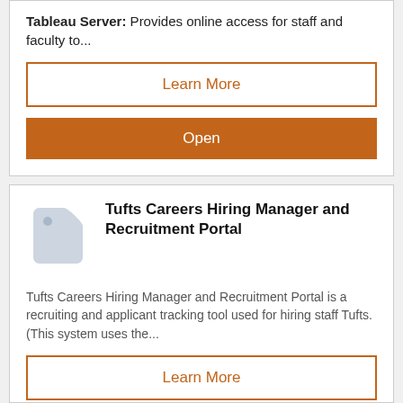Tableau Server: Provides online access for staff and faculty to...
Learn More
Open
[Figure (illustration): Light blue price tag / label icon]
Tufts Careers Hiring Manager and Recruitment Portal
Tufts Careers Hiring Manager and Recruitment Portal is a recruiting and applicant tracking tool used for hiring staff Tufts. (This system uses the...
Learn More